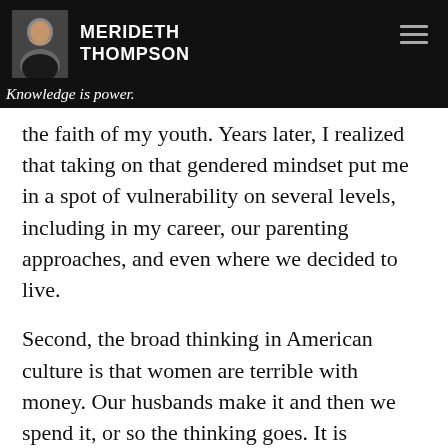MERIDETH THOMPSON | Knowledge is power. Own yours.
the faith of my youth. Years later, I realized that taking on that gendered mindset put me in a spot of vulnerability on several levels, including in my career, our parenting approaches, and even where we decided to live.
Second, the broad thinking in American culture is that women are terrible with money. Our husbands make it and then we spend it, or so the thinking goes. It is uncomfortable to admit this now, but with the strong gender hierarchy in which I was